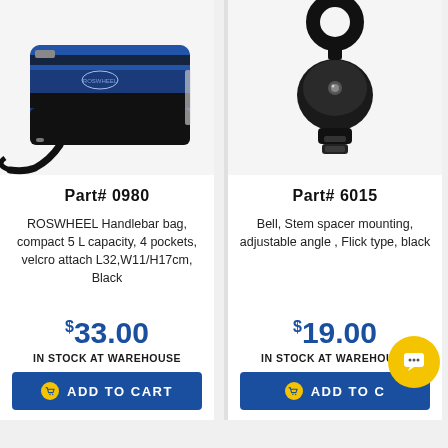[Figure (photo): ROSWHEEL handlebar bag, blue and black, compact size]
Part# 0980
ROSWHEEL Handlebar bag, compact 5 L capacity, 4 pockets, velcro attach L32,W11/H17cm, Black
$33.00
IN STOCK AT WAREHOUSE
ADD TO CART
[Figure (photo): Black bicycle bell with stem spacer mounting, flick type]
Part# 6015
Bell, Stem spacer mounting, adjustable angle , Flick type, black
$19.00
IN STOCK AT WAREHOUSE
ADD TO CART